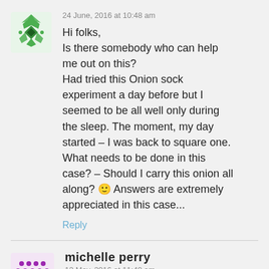24 June, 2016 at 10:48 am
Hi folks,
Is there somebody who can help me out on this?
Had tried this Onion sock experiment a day before but I seemed to be all well only during the sleep. The moment, my day started – I was back to square one. What needs to be done in this case? – Should I carry this onion all along? 🙂 Answers are extremely appreciated in this case...
Reply
michelle perry
12 May, 2016 at 11:40 am
am wondering if a onion sock trick